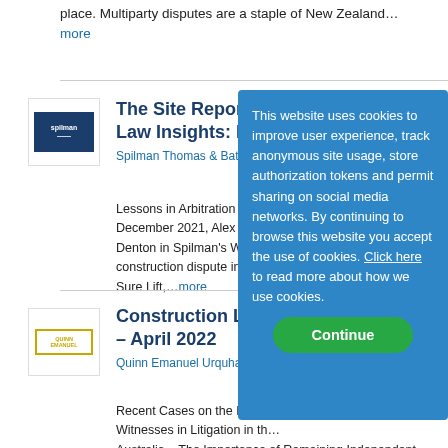place. Multiparty disputes are a staple of New Zealand……more
[Figure (logo): Spilman Thomas & Battle law firm logo — dark blue rectangle with white text]
The Site Report: Construction Law Insights: Iss…
Spilman Thomas & Battle, P…
Lessons in Arbitration Cons… December 2021, Alex Turne… Denton in Spilman's Winsto… construction dispute in Norf… Sure Lift,…more
[Figure (logo): Quinn Emanuel Urquhart & Sullivan law firm logo — yellow-bordered rectangle with yellow text]
Construction Lit… – April 2022
Quinn Emanuel Urquhart &…
Recent Cases on the Duties… Witnesses in Litigation in th… Australia – The Importance of Remaining Independent…
This website uses cookies to improve user experience, track anonymous site usage, store authorization tokens and permit sharing on social media networks. By continuing to browse this website you accept the use of cookies. Click here to read more about how we use cookies.